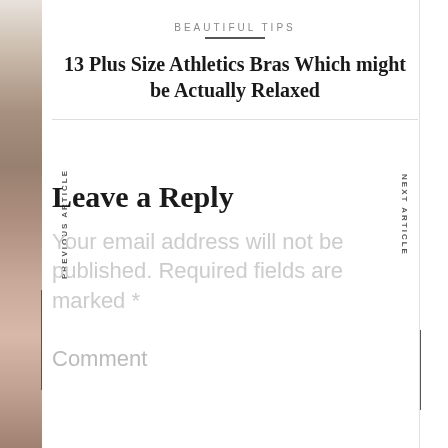BEAUTIFUL TIPS
13 Plus Size Athletics Bras Which might be Actually Relaxed
Leave a Reply
Your email address will not be published. Required fields are marked *
Comment